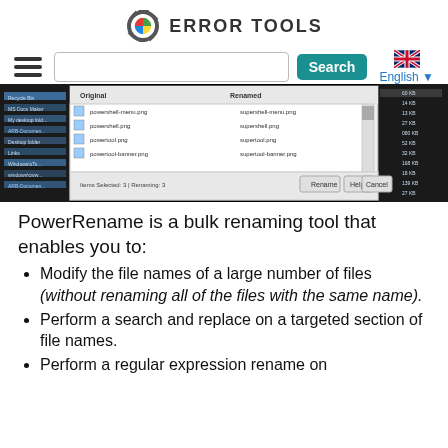ERROR TOOLS
[Figure (screenshot): Screenshot of PowerRename file renaming dialog in Windows Explorer showing Original and Renamed columns with files like powershell-menu.png renamed to supershell-menu.png]
PowerRename is a bulk renaming tool that enables you to:
Modify the file names of a large number of files (without renaming all of the files with the same name).
Perform a search and replace on a targeted section of file names.
Perform a regular expression rename on